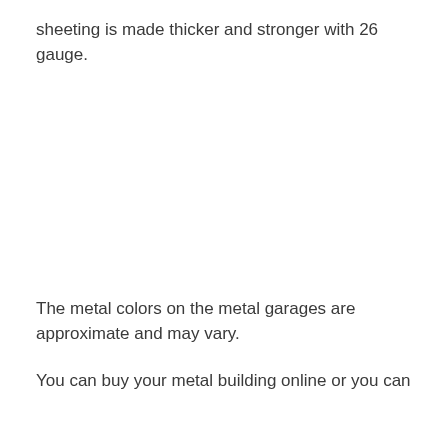sheeting is made thicker and stronger with 26 gauge.
The metal colors on the metal garages are approximate and may vary.
You can buy your metal building online or you can